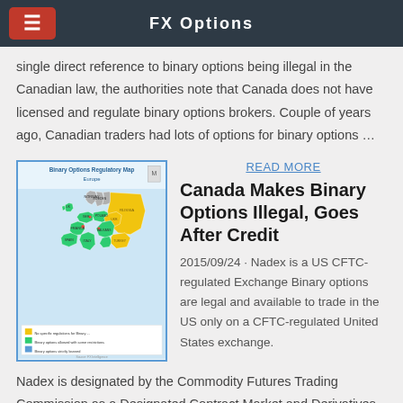FX Options
single direct reference to binary options being illegal in the Canadian law, the authorities note that Canada does not have licensed and regulate binary options brokers. Couple of years ago, Canadian traders had lots of options for binary options …
[Figure (map): Binary Options Regulatory Map Europe — a color-coded map of Europe showing countries where binary options are regulated, allowed with restrictions, or banned. Legend with yellow, green, and blue/white colors.]
READ MORE
Canada Makes Binary Options Illegal, Goes After Credit
2015/09/24 · Nadex is a US CFTC-regulated Exchange Binary options are legal and available to trade in the US only on a CFTC-regulated United States exchange.Nadex is designated by the Commodity Futures Trading Commission as a Designated Contract Market and Derivatives